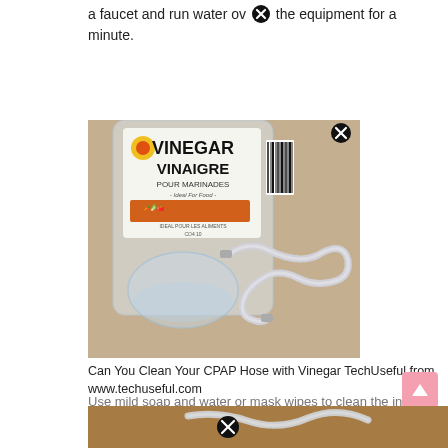a faucet and run water over the equipment for a minute.
[Figure (photo): A large white plastic vinegar/vinaigre bottle labeled 'VINEGAR VINAIGRE POUR MARINADES' with a coiled white CPAP hose and a glass bowl of water in front of it, placed on a beige carpet.]
Can You Clean Your CPAP Hose with Vinegar TechUseful from www.techuseful.com
Use mild soap and water or mask wipes to clean the inside of. Thoroughly clean a small bucket, bowl or tub. Place the mask and headgear on a towel to air dry.
[Figure (photo): Bottom portion of another image showing a wooden surface with a white CPAP hose and a close button overlay.]